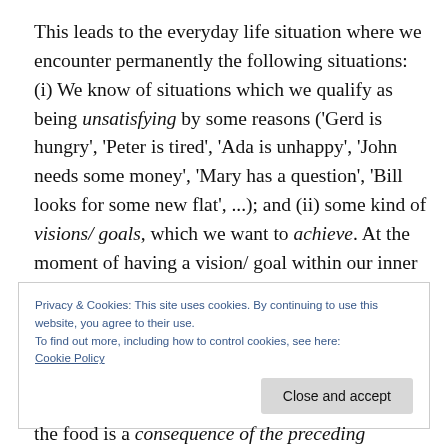This leads to the everyday life situation where we encounter permanently the following situations: (i) We know of situations which we qualify as being unsatisfying by some reasons ('Gerd is hungry', 'Peter is tired', 'Ada is unhappy', 'John needs some money', 'Mary has a question', 'Bill looks for some new flat', ...); and (ii) some kind of visions/ goals, which we want to achieve. At the moment of having a vision/ goal within our inner cognitive states
Privacy & Cookies: This site uses cookies. By continuing to use this website, you agree to their use.
To find out more, including how to control cookies, see here: Cookie Policy
the food is a consequence of the preceding process